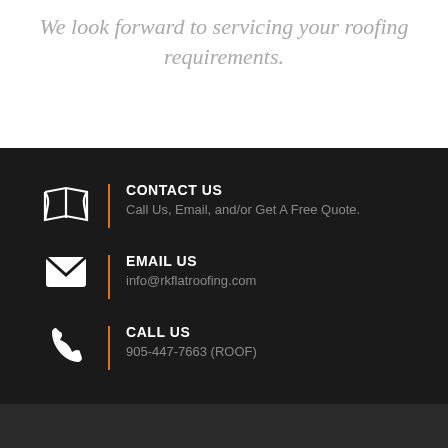We look forward to servicing your roofing requirements.
CONTACT US
Call Us, Email, and/or Get A Free Quote.
EMAIL US
info@rkflatroofing.com
CALL US
905-447-7663 (ROOF)